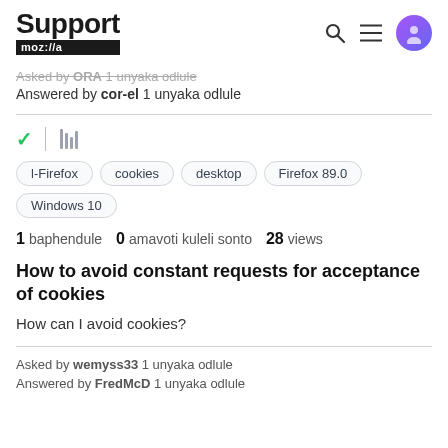Support mozilla//a
Asked by ORA 1 unyaka odlule
Answered by cor-el 1 unyaka odlule
l-Firefox
cookies
desktop
Firefox 89.0
Windows 10
1 baphendule  0 amavoti kuleli sonto  28 views
How to avoid constant requests for acceptance of cookies
How can I avoid cookies?
Asked by wemyss33 1 unyaka odlule
Answered by FredMcD 1 unyaka odlule